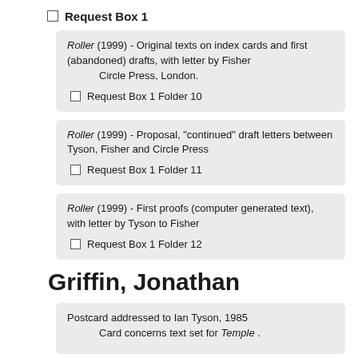Request Box 1
Roller (1999) - Original texts on index cards and first (abandoned) drafts, with letter by Fisher
        Circle Press, London.
Request Box 1 Folder 10
Roller (1999) - Proposal, "continued" draft letters between Tyson, Fisher and Circle Press
Request Box 1 Folder 11
Roller (1999) - First proofs (computer generated text), with letter by Tyson to Fisher
Request Box 1 Folder 12
Griffin, Jonathan
Postcard addressed to Ian Tyson, 1985
        Card concerns text set for Temple .